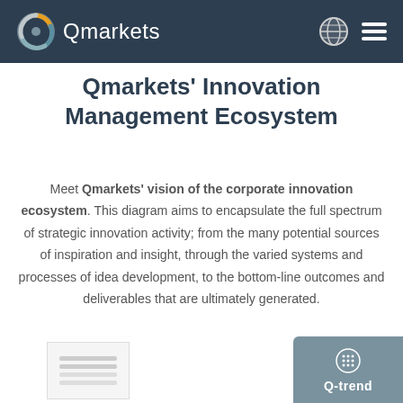Qmarkets
Qmarkets' Innovation Management Ecosystem
Meet Qmarkets' vision of the corporate innovation ecosystem. This diagram aims to encapsulate the full spectrum of strategic innovation activity; from the many potential sources of inspiration and insight, through the varied systems and processes of idea development, to the bottom-line outcomes and deliverables that are ultimately generated.
[Figure (screenshot): Thumbnail preview of a document]
[Figure (logo): Q-trend button with grid icon]